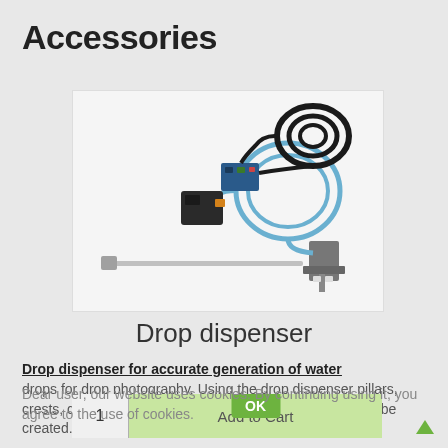Accessories
[Figure (photo): Drop dispenser hardware showing pump, circuit board, tubing (blue coiled), power cable (black coiled), a long thin rod/bar, and a valve assembly, all laid out on a white background.]
Drop dispenser
Drop dispenser for accurate generation of water drops for drop photography. Using the drop dispenser pillars, crests, drop collisions, multicolour drop collisions etc. can be created.
Dear user, our website uses cookies. By continuing using it, you agree to the use of cookies.